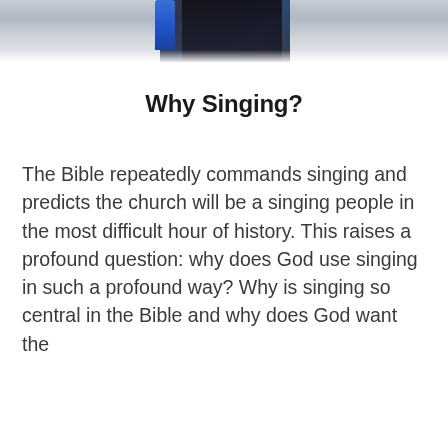[Figure (photo): Partial photo of a person, cropped at top of page, showing dark clothing against a light background with a blue element visible]
Why Singing?
The Bible repeatedly commands singing and predicts the church will be a singing people in the most difficult hour of history. This raises a profound question: why does God use singing in such a profound way? Why is singing so central in the Bible and why does God want the